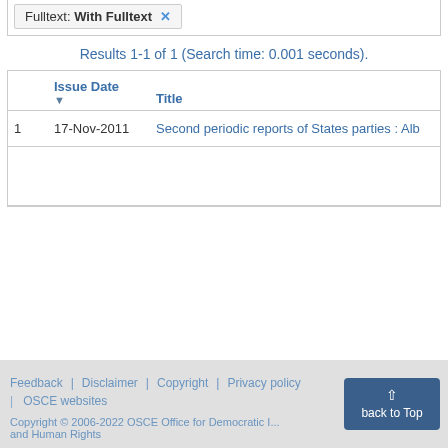Authors: United Nations (UN). Human Rights Committee (H...
Fulltext: With Fulltext ×
Results 1-1 of 1 (Search time: 0.001 seconds).
|  | Issue Date | Title |
| --- | --- | --- |
| 1 | 17-Nov-2011 | Second periodic reports of States parties : Alb... |
Feedback | Disclaimer | Copyright | Privacy policy | OSCE websites
Copyright © 2006-2022 OSCE Office for Democratic I... and Human Rights